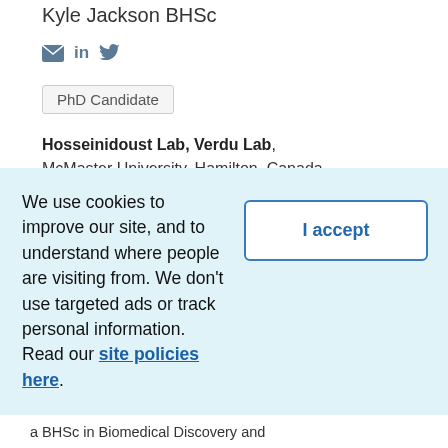Kyle Jackson BHSc
[Figure (infographic): Social media icons: envelope (email), LinkedIn (in), Twitter bird icon]
PhD Candidate
Hosseinidoust Lab, Verdu Lab,
McMaster University, Hamilton, Canada
Email   jacksk1@mcmaster.ca
Twitter   @Kyle_Jackson26
We use cookies to improve our site, and to understand where people are visiting from. We don't use targeted ads or track personal information. Read our site policies here.
I accept
a BHSc in Biomedical Discovery and